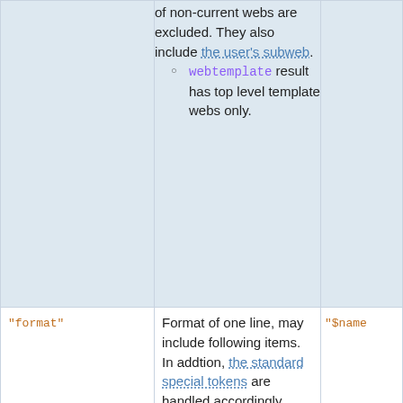|  |  |  |
| --- | --- | --- |
|  | of non-current webs are excluded. They also include the user's subweb.
webtemplate result has top level template webs only. |  |
| "format" | Format of one line, may include following items. In addtion, the standard special tokens are handled accordingly.
[Inner table: Item | Description; $name | the name of the web; $qname | the name of the web in double quotes; (partial) | the name of the web] | "$name |